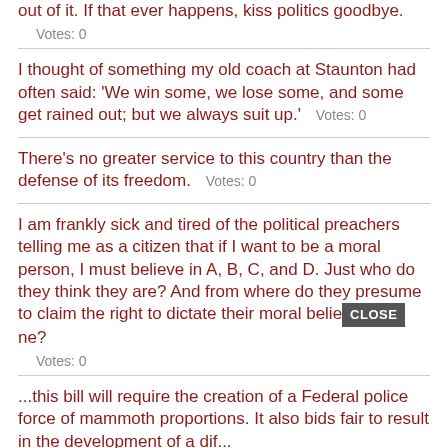out of it. If that ever happens, kiss politics goodbye.
Votes: 0
I thought of something my old coach at Staunton had often said: 'We win some, we lose some, and some get rained out; but we always suit up.'  Votes: 0
There's no greater service to this country than the defense of its freedom.  Votes: 0
I am frankly sick and tired of the political preachers telling me as a citizen that if I want to be a moral person, I must believe in A, B, C, and D. Just who do they think they are? And from where do they presume to claim the right to dictate their moral beliefs to me?
Votes: 0
...this bill will require the creation of a Federal police force of mammoth proportions. It also bids fair to result in the development of a dif...